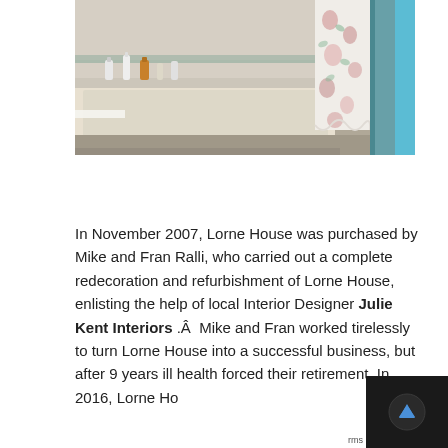[Figure (photo): Photograph of a bathroom interior showing a bathtub with toiletries on the ledge, a floral shower curtain partially drawn, and teal/aqua colored walls or door frame visible on the right side.]
In November 2007, Lorne House was purchased by Mike and Fran Ralli, who carried out a complete redecoration and refurbishment of Lorne House, enlisting the help of local Interior Designer Julie Kent Interiors .Â  Mike and Fran worked tirelessly to turn Lorne House into a successful business, but after 9 years ill health forced their retirement. In 2016, Lorne House...